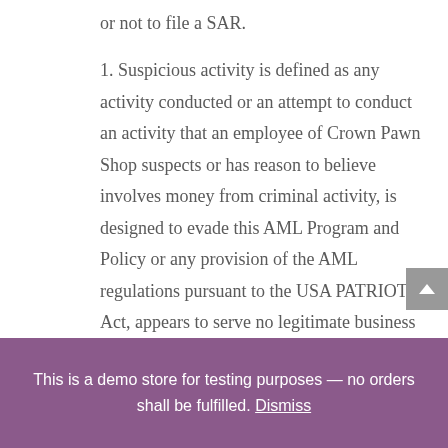or not to file a SAR.
1. Suspicious activity is defined as any activity conducted or an attempt to conduct an activity that an employee of Crown Pawn Shop suspects or has reason to believe involves money from criminal activity, is designed to evade this AML Program and Policy or any provision of the AML regulations pursuant to the USA PATRIOT Act, appears to serve no legitimate business
This is a demo store for testing purposes — no orders shall be fulfilled. Dismiss